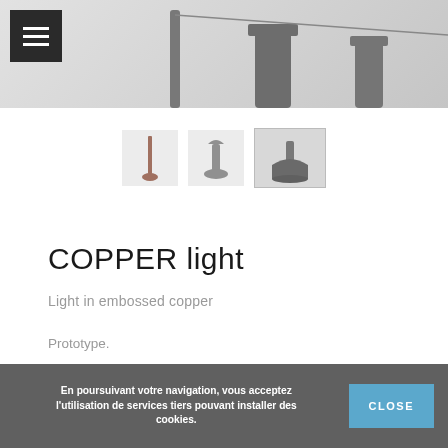[Figure (photo): Top banner product photo of copper/grey lamp on light background]
[Figure (photo): Three thumbnail images of the COPPER light product variants — thin tall, medium, and wide flared shape (active/selected)]
COPPER light
Light in embossed copper
Prototype.
©Patented
All rights reserved.
Available for production.
En poursuivant votre navigation, vous acceptez l'utilisation de services tiers pouvant installer des cookies. CLOSE